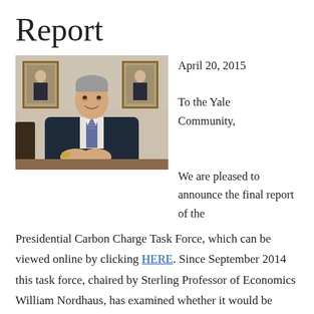Report
[Figure (photo): A smiling man in a dark suit with a striped tie, seated in front of two framed portrait paintings on a beige paneled wall, arms folded on a table.]
April 20, 2015
To the Yale Community,

We are pleased to announce the final report of the
Presidential Carbon Charge Task Force, which can be viewed online by clicking HERE. Since September 2014 this task force, chaired by Sterling Professor of Economics William Nordhaus, has examined whether it would be feasible and effective for Yale to institute an internal carbon pricing mechanism as part of the university's sustainability efforts. The task force has